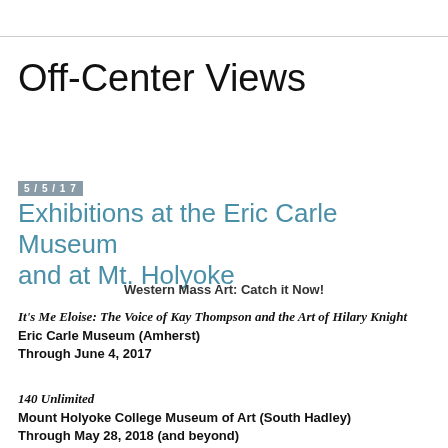Off-Center Views
5/5/17
Exhibitions at the Eric Carle Museum and at Mt. Holyoke
Western Mass Art: Catch it Now!
It's Me Eloise: The Voice of Kay Thompson and the Art of Hilary Knight
Eric Carle Museum (Amherst)
Through June 4, 2017
140 Unlimited
Mount Holyoke College Museum of Art (South Hadley)
Through May 28, 2018 (and beyond)